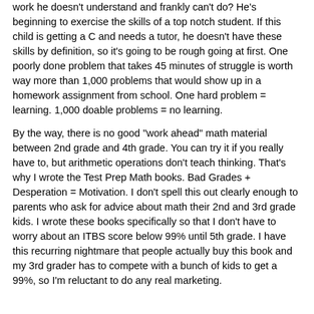work he doesn't understand and frankly can't do?  He's beginning to exercise the skills of a top notch student.  If this child is getting a C and needs a tutor, he doesn't have these skills by definition, so it's going to be rough going at first.  One poorly done problem that takes 45 minutes of struggle is worth way more than 1,000 problems that would show up in a homework assignment from school.  One hard problem = learning.  1,000 doable problems = no learning.
By the way, there is no good "work ahead" math material between 2nd grade and 4th grade.   You can try it if you really have to, but arithmetic operations don't teach thinking.  That's why I wrote the Test Prep Math books.  Bad Grades + Desperation = Motivation.  I don't spell this out clearly enough to parents who ask for advice about math their 2nd and 3rd grade kids.  I wrote these books specifically so that I don't have to worry about an ITBS score below 99% until 5th grade.  I have this recurring nightmare that people actually buy this book and my 3rd grader has to compete with a bunch of kids to get a 99%, so I'm reluctant to do any real marketing.